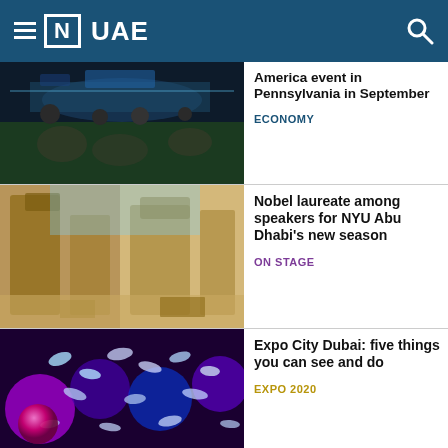[N] UAE
[Figure (photo): Conference event with people seated watching a stage with screens and lighting]
America event in Pennsylvania in September
ECONOMY
[Figure (photo): Historic street scene with traditional Arabian architecture, sandy-colored buildings]
Nobel laureate among speakers for NYU Abu Dhabi's new season
ON STAGE
[Figure (photo): Colorful abstract artistic display with iridescent oval shapes and purple/blue hues at Expo City Dubai]
Expo City Dubai: five things you can see and do
EXPO 2020